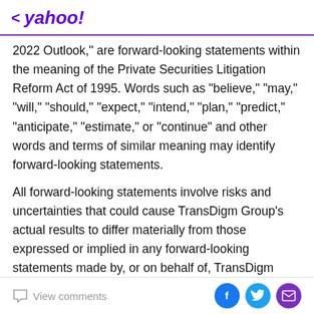< yahoo!
2022 Outlook," are forward-looking statements within the meaning of the Private Securities Litigation Reform Act of 1995. Words such as "believe," "may," "will," "should," "expect," "intend," "plan," "predict," "anticipate," "estimate," or "continue" and other words and terms of similar meaning may identify forward-looking statements.
All forward-looking statements involve risks and uncertainties that could cause TransDigm Group's actual results to differ materially from those expressed or implied in any forward-looking statements made by, or on behalf of, TransDigm Group. These risks and
View comments